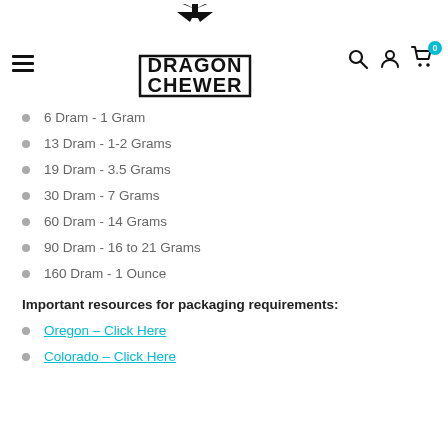Dragon Chewer logo with navigation icons
6 Dram - 1 Gram
13 Dram - 1-2 Grams
19 Dram - 3.5 Grams
30 Dram - 7 Grams
60 Dram - 14 Grams
90 Dram - 16 to 21 Grams
160 Dram - 1 Ounce
Important resources for packaging requirements:
Oregon - Click Here
Colorado - Click Here